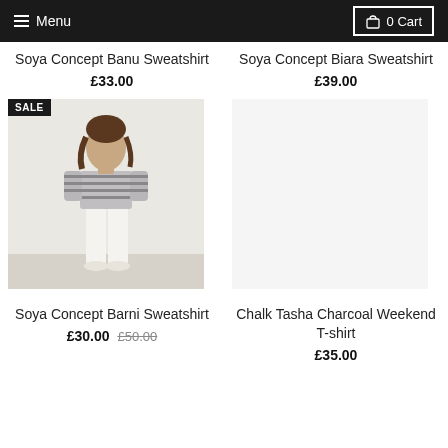≡ Menu | 🛒 0 Cart
Soya Concept Banu Sweatshirt
£33.00
Soya Concept Biara Sweatshirt
£39.00
[Figure (photo): Woman wearing a striped grey and white sweatshirt with white trousers and white trainers, standing against a white wall. SALE badge in top left corner.]
[Figure (photo): Empty product image area for Chalk Tasha Charcoal Weekend T-shirt]
Soya Concept Barni Sweatshirt
£30.00 £50.00
Chalk Tasha Charcoal Weekend T-shirt
£35.00